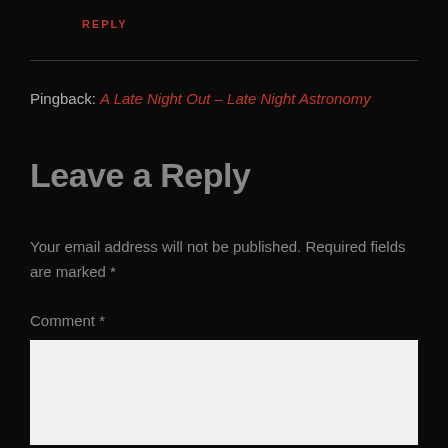REPLY
Pingback: A Late Night Out – Late Night Astronomy
Leave a Reply
Your email address will not be published. Required fields are marked *
Comment *